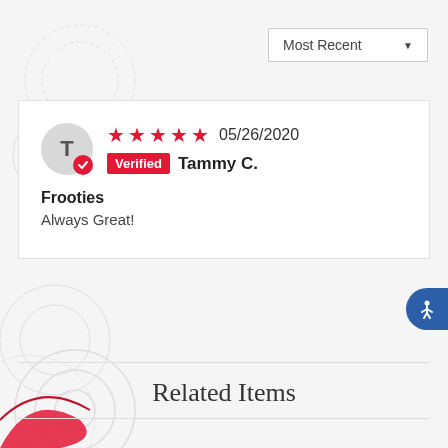Most Recent ▼
★★★★★ 05/26/2020 Verified Tammy C.
Frooties
Always Great!
Related Items